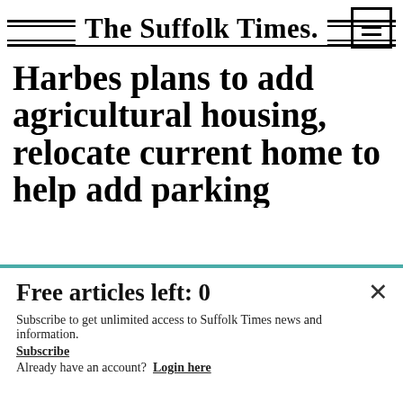The Suffolk Times.
Harbes plans to add agricultural housing, relocate current home to help add parking
The Riverhead Town Board plans to approve a resolution at Tuesday's meeting to allow Harbes-Old Fox Farm to move forward with the construction of agricultural housing units on its...
Free articles left: 0
Subscribe to get unlimited access to Suffolk Times news and information.
Subscribe
Already have an account? Login here